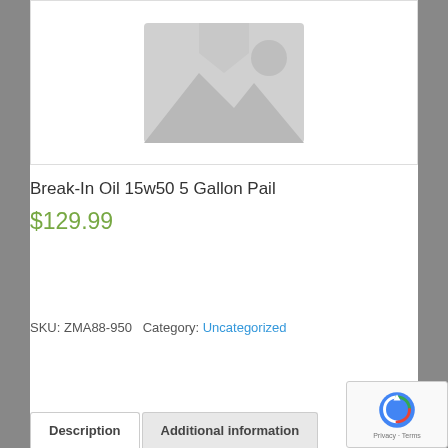[Figure (photo): Product image placeholder (gray image icon) for Break-In Oil 15w50 5 Gallon Pail]
Break-In Oil 15w50 5 Gallon Pail
$129.99
SKU: ZMA88-950  Category: Uncategorized
Description  Additional information